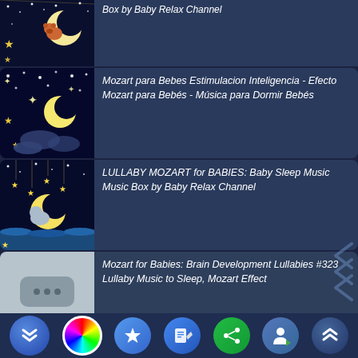[Figure (screenshot): Mobile app list view showing YouTube-style video thumbnails with baby sleep music titles on dark blue background with toolbar at bottom]
Box by Baby Relax Channel
Mozart para Bebes Estimulacion Inteligencia - Efecto Mozart para Bebés - Música para Dormir Bebés
LULLABY MOZART for BABIES: Baby Sleep Music Music Box by Baby Relax Channel
Mozart for Babies: Brain Development Lullabies #323 Lullaby Music to Sleep, Mozart Effect
LULLABY MOZART for BABIES: Baby Sleep Music Music Box by Baby Relax Channel